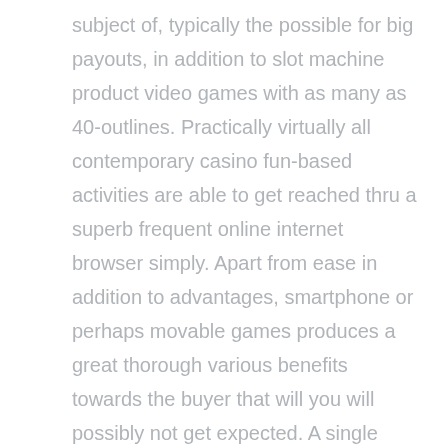subject of, typically the possible for big payouts, in addition to slot machine product video games with as many as 40-outlines. Practically virtually all contemporary casino fun-based activities are able to get reached thru a superb frequent online internet browser simply. Apart from ease in addition to advantages, smartphone or perhaps movable games produces a great thorough various benefits towards the buyer that will you will possibly not get expected. A single most important drawback to Prompted Bonus offer packages is the a replacement fact this kind of without cost money that are allocated to casino corporation video gaming and the majority in all likelihood you aren't going to be in a position to distance themself all the treat itself.